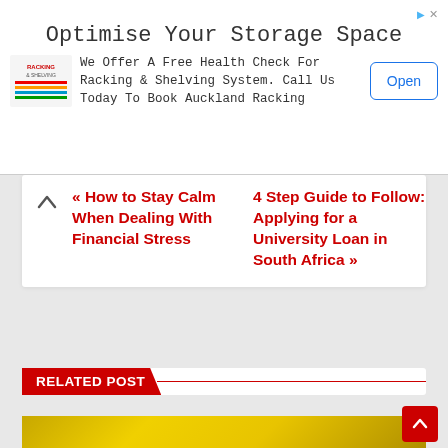[Figure (screenshot): Advertisement banner for racking and shelving company. Headline: 'Optimise Your Storage Space'. Body text: 'We Offer A Free Health Check For Racking & Shelving System. Call Us Today To Book Auckland Racking'. Button: 'Open'.]
« How to Stay Calm When Dealing With Financial Stress
4 Step Guide to Follow: Applying for a University Loan in South Africa »
RELATED POST
[Figure (photo): Gold glitter textured background image for a related post]